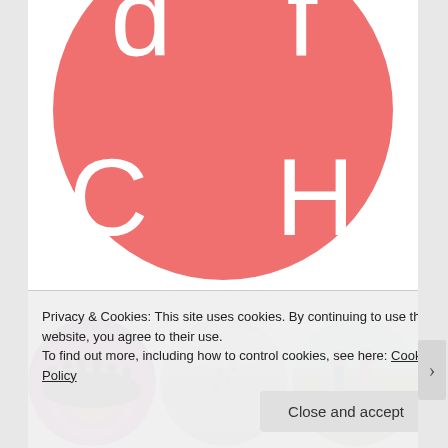[Figure (logo): Large coral/salmon colored circle logo showing letters 'C H' in white, partial top letters visible above]
[Figure (photo): Three circular thumbnail photos: silhouettes of people holding hands at sunset (purple/orange), sandy beach in black and white, two people outdoors in daylight]
Privacy & Cookies: This site uses cookies. By continuing to use this website, you agree to their use.
To find out more, including how to control cookies, see here: Cookie Policy
Close and accept